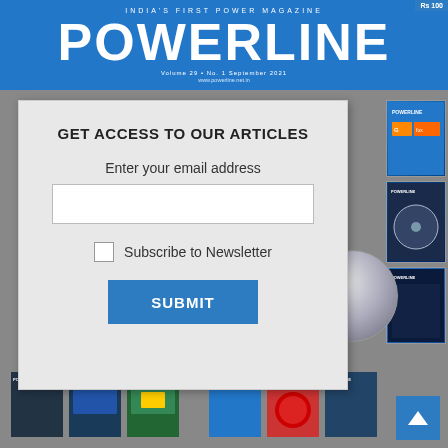[Figure (illustration): PowerLine magazine cover — India's First Power Magazine, blue banner header with large white POWERLINE text, Volume 29 No.1 September 2021]
GET ACCESS TO OUR ARTICLES
Enter your email address
Subscribe to Newsletter
SUBMIT
[Figure (illustration): Background showing multiple PowerLine magazine covers and a CD/disc, with small thumbnail covers along the right side and bottom]
Rs 100